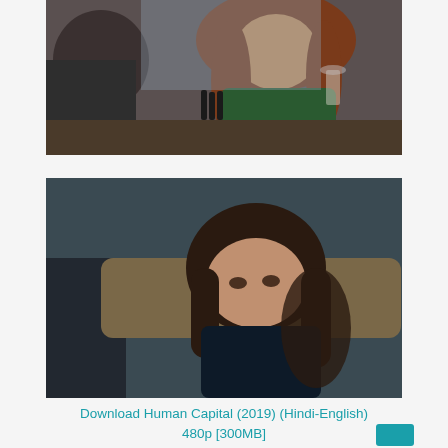[Figure (photo): Movie still from Human Capital (2019): a woman with long auburn hair wearing a dark green top sits at a table holding a wine glass, facing a man whose back is to the camera; indoor setting with wooden furniture and bottles visible in background.]
[Figure (photo): Movie still from Human Capital (2019): a young woman with long dark hair looks upward with a worried or emotional expression; she appears to be sitting on a couch or chair; dark, moody indoor setting.]
Download Human Capital (2019) (Hindi-English) 480p [300MB]